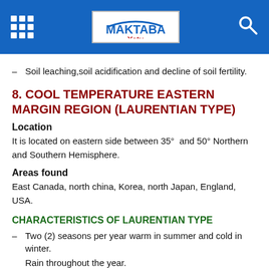MAKTABA Yetu
Soil leaching,soil acidification and decline of soil fertility.
8. COOL TEMPERATURE EASTERN MARGIN REGION (LAURENTIAN TYPE)
Location
It is located on eastern side between 35° and 50° Northern and Southern Hemisphere.
Areas found
East Canada, north china, Korea, north Japan, England, USA.
CHARACTERISTICS OF LAURENTIAN TYPE
Two (2) seasons per year warm in summer and cold in winter.
Rain throughout the year.